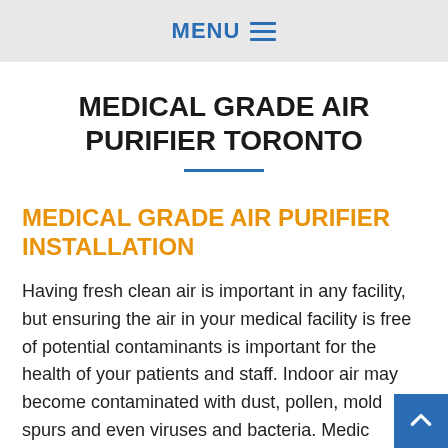MENU ≡
MEDICAL GRADE AIR PURIFIER TORONTO
MEDICAL GRADE AIR PURIFIER INSTALLATION
Having fresh clean air is important in any facility, but ensuring the air in your medical facility is free of potential contaminants is important for the health of your patients and staff. Indoor air may become contaminated with dust, pollen, mold spurs and even viruses and bacteria. Medical facilities are more susceptible to viruses and bacteria